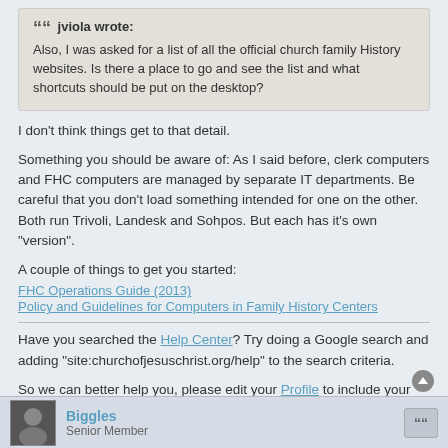jviola wrote: Also, I was asked for a list of all the official church family History websites. Is there a place to go and see the list and what shortcuts should be put on the desktop?
I don't think things get to that detail.
Something you should be aware of: As I said before, clerk computers and FHC computers are managed by separate IT departments. Be careful that you don't load something intended for one on the other. Both run Trivoli, Landesk and Sohpos. But each has it's own "version".
A couple of things to get you started:
FHC Operations Guide (2013)
Policy and Guidelines for Computers in Family History Centers
Have you searched the Help Center? Try doing a Google search and adding "site:churchofjesuschrist.org/help" to the search criteria.
So we can better help you, please edit your Profile to include your general location.
Biggles
Senior Member